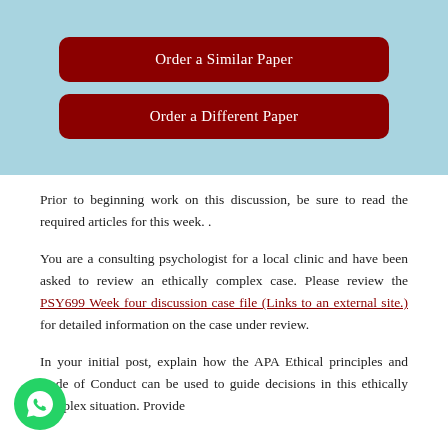[Figure (other): Light blue banner with two dark red rounded buttons: 'Order a Similar Paper' and 'Order a Different Paper']
Prior to beginning work on this discussion, be sure to read the required articles for this week. .
You are a consulting psychologist for a local clinic and have been asked to review an ethically complex case. Please review the PSY699 Week four discussion case file (Links to an external site.) for detailed information on the case under review.
In your initial post, explain how the APA Ethical principles and Code of Conduct can be used to guide decisions in this ethically complex situation. Provide